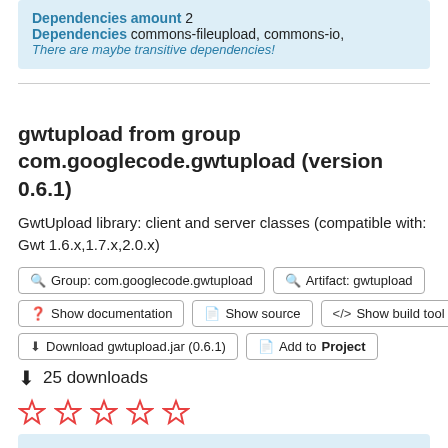Dependencies amount 2
Dependencies commons-fileupload, commons-io,
There are maybe transitive dependencies!
gwtupload from group com.googlecode.gwtupload (version 0.6.1)
GwtUpload library: client and server classes (compatible with: Gwt 1.6.x,1.7.x,2.0.x)
Group: com.googlecode.gwtupload | Artifact: gwtupload
Show documentation | Show source | Show build tool code
Download gwtupload.jar (0.6.1) | Add to Project
25 downloads
[Figure (other): Five empty star rating icons in red outline]
Artifact gwtupload
Group com.googlecode.gwtupload
Version 0.6.1